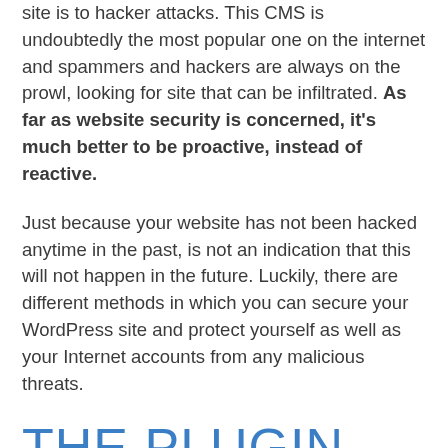site is to hacker attacks. This CMS is undoubtedly the most popular one on the internet and spammers and hackers are always on the prowl, looking for site that can be infiltrated. As far as website security is concerned, it's much better to be proactive, instead of reactive.
Just because your website has not been hacked anytime in the past, is not an indication that this will not happen in the future. Luckily, there are different methods in which you can secure your WordPress site and protect yourself as well as your Internet accounts from any malicious threats.
THE PLUGIN MAGIC